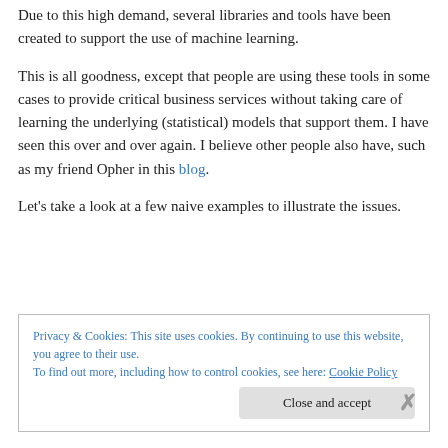Due to this high demand, several libraries and tools have been created to support the use of machine learning.
This is all goodness, except that people are using these tools in some cases to provide critical business services without taking care of learning the underlying (statistical) models that support them. I have seen this over and over again. I believe other people also have, such as my friend Opher in this blog.
Let’s take a look at a few naive examples to illustrate the issues.
Privacy & Cookies: This site uses cookies. By continuing to use this website, you agree to their use.
To find out more, including how to control cookies, see here: Cookie Policy